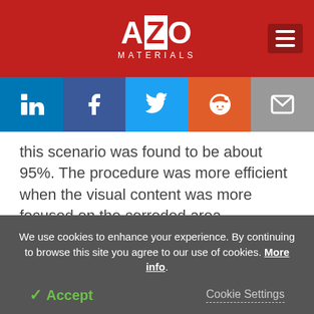AZO MATERIALS
this scenario was found to be about 95%. The procedure was more efficient when the visual content was more focused on the corroded area, according to the results.
Conclusions
We use cookies to enhance your experience. By continuing to browse this site you agree to our use of cookies. More info.
✓ Accept   Cookie Settings